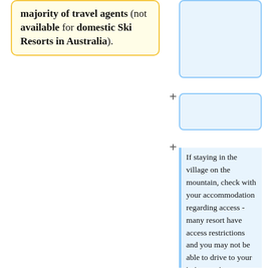majority of travel agents (not available for domestic Ski Resorts in Australia).
If staying in the village on the mountain, check with your accommodation regarding access - many resort have access restrictions and you may not be able to drive to your lodge. In these cases you may need to take oversnow transport with all your baggage. If necessary, check the hours of operation for oversnow, make bookings and plan your travel as required. Remember not to pack too much excess baggage as this